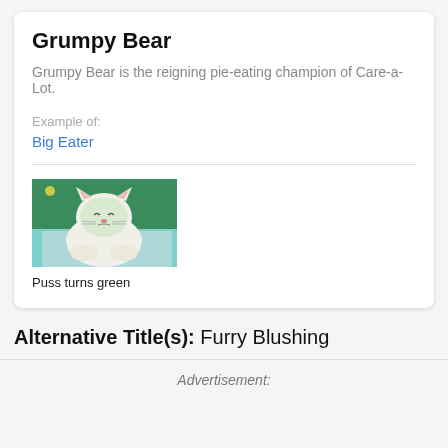Grumpy Bear
Grumpy Bear is the reigning pie-eating champion of Care-a-Lot.
Example of:
Big Eater
[Figure (illustration): Animated cat character turning green, from a cartoon scene with teal and green background]
Puss turns green
Alternative Title(s): Furry Blushing
Advertisement: